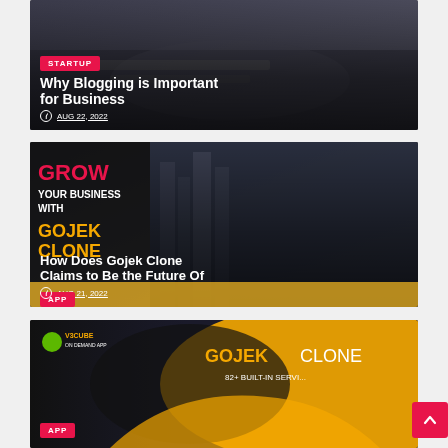[Figure (photo): Blog post card with dark background showing people working at a desk. STARTUP badge, title 'Why Blogging is Important for Business', date AUG 22, 2022]
[Figure (photo): Blog post card with Gojek Clone promotional imagery showing city skyline and man holding tablet. APP badge, title 'How Does Gojek Clone Claims to Be the Future Of', date AUG 21, 2022]
[Figure (photo): Gojek Clone on-demand app promotional image by V3Cube with APP badge, showing phone and '82+ BUILT-IN SERVICES']